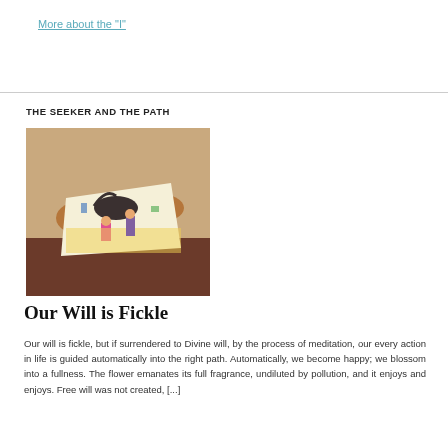More about the "I"
THE SEEKER AND THE PATH
[Figure (photo): Person holding colorful children's drawings in their hands, wearing a beige/tan garment]
Our Will is Fickle
Our will is fickle, but if surrendered to Divine will, by the process of meditation, our every action in life is guided automatically into the right path. Automatically, we become happy; we blossom into a fullness. The flower emanates its full fragrance, undiluted by pollution, and it enjoys and enjoys. Free will was not created, [...]